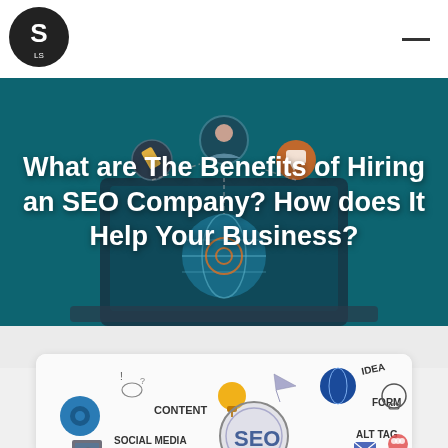[Figure (logo): Stylized letter S logo with '2LS' text, black circular logo in top left corner]
What are The Benefits of Hiring an SEO Company? How does It Help Your Business?
[Figure (illustration): Hero banner with teal/dark green background showing an illustrated laptop with SEO-related icons including person, pencil, chat bubbles, target/globe, connected by dashed lines]
[Figure (infographic): SEO infographic card on white background with rounded corners showing SEO concepts: gear/settings icon, CONTENT label, light bulb, paper airplane, globe, FORM label, IDEA label with lightbulb, SOCIAL MEDIA label, large magnifying glass over SEO text, ALT TAG label, email icon, chat bubble icon, and other SEO-related elements]